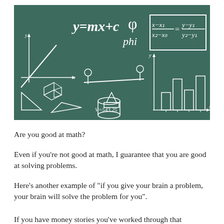[Figure (illustration): Chalkboard illustration showing mathematical formulas and diagrams in white chalk on dark green/teal background. Includes: y=mx+c equation, phi symbol, the two-point form formula (x-x1)/(x2-x0) = (y-y1)/(y2-y1), a coordinate axis with a line graph, geometric shapes (cube, triangles), a balance scale with stick figures, a cylinder with V=543.25 label, and a bar chart with x-y axes.]
Are you good at math?
Even if you’re not good at math, I guarantee that you are good at solving problems.
Here’s another example of “if you give your brain a problem, your brain will solve the problem for you”.
If you have money stories you’ve worked through that